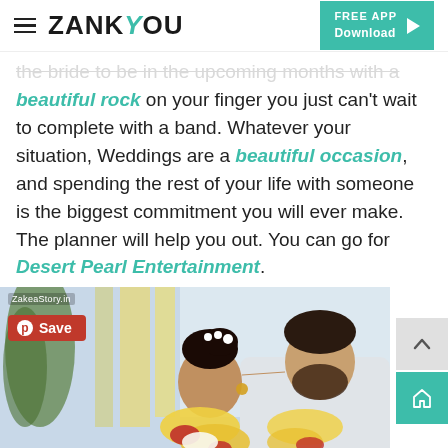ZANKYOU | FREE APP Download
the bride to be in the upcoming months with a beautiful rock on your finger you just can't wait to complete with a band. Whatever your situation, Weddings are a beautiful occasion, and spending the rest of your life with someone is the biggest commitment you will ever make. The planner will help you out. You can go for Desert Pearl Entertainment.
[Figure (photo): Indian wedding couple photo: bride in traditional attire with floral garlands and groom in white shirt. Flower decorations in background. Pinterest Save button overlay. Watermark: ZakeaStory.in]